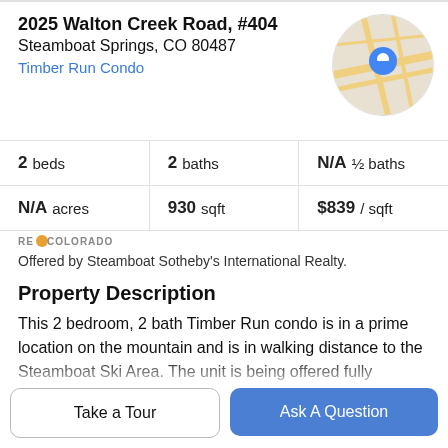2025 Walton Creek Road, #404
Steamboat Springs, CO 80487
Timber Run Condo
[Figure (map): Circular map thumbnail showing street map with blue location pin marker]
|  |  |  |
| --- | --- | --- |
| 2 beds | 2 baths | N/A ½ baths |
| N/A acres | 930 sqft | $839 / sqft |
[Figure (logo): RE/COLORADO logo with orange flame icon]
Offered by Steamboat Sotheby's International Realty.
Property Description
This 2 bedroom, 2 bath Timber Run condo is in a prime location on the mountain and is in walking distance to the Steamboat Ski Area. The unit is being offered fully furnished and features an open floor plan with open living
Take a Tour
Ask A Question